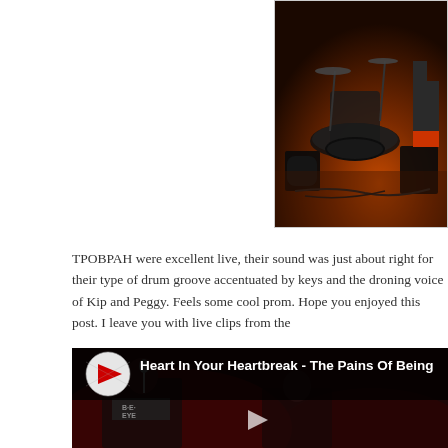[Figure (photo): Concert/band photo showing drum kit and stage equipment with orange-lit background, partial view of performer's legs in red shoes]
TPOBPAH were excellent live, their sound was just about right for their type of drum groove accentuated by keys and the droning voice of Kip and Peggy. Feels some cool prom. Hope you enjoyed this post. I leave you with live clips from the
[Figure (screenshot): YouTube video embed showing 'Heart In Your Heartbreak - The Pains Of Being' with a dark red-tinted live concert scene, performers visible with one wearing a BELIEVE t-shirt. YouTube logo and play button visible.]